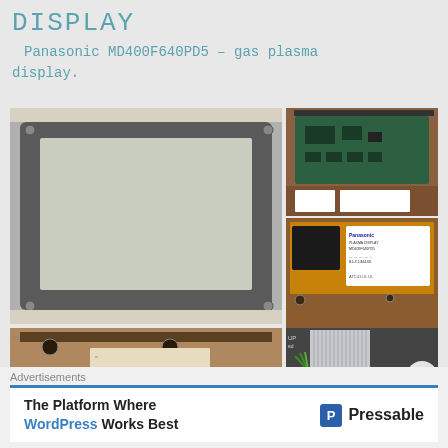DISPLAY
Panasonic MD400F640PD5 – gas plasma display.
[Figure (photo): Four-panel photo collage of Panasonic MD400F640PD5 gas plasma display unit from multiple angles: front face showing gray display panel, rear PCB with green circuit board, label showing Panasonic PLASMA DISPLAY MD400F640PD5 and serial number 81-C134440, bottom edge view, and ribbon cable connector detail. Overlaid X/close button in bottom-right corner.]
Advertisements
The Platform Where WordPress Works Best    Pressable